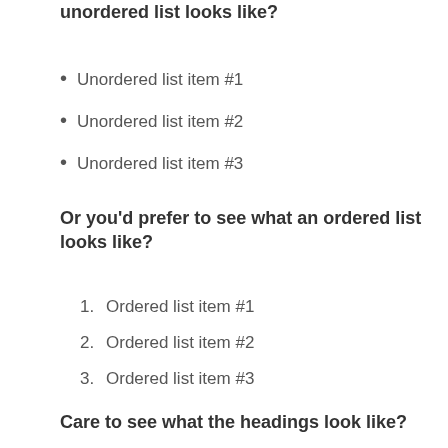unordered list looks like?
Unordered list item #1
Unordered list item #2
Unordered list item #3
Or you'd prefer to see what an ordered list looks like?
Ordered list item #1
Ordered list item #2
Ordered list item #3
Care to see what the headings look like?